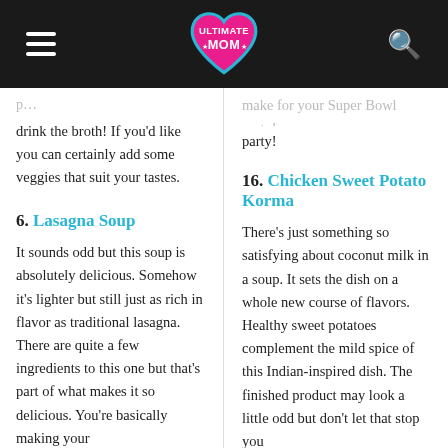Ultimate Mom
drink the broth! If you'd like you can certainly add some veggies that suit your tastes.
6. Lasagna Soup
It sounds odd but this soup is absolutely delicious. Somehow it's lighter but still just as rich in flavor as traditional lasagna. There are quite a few ingredients to this one but that's part of what makes it so delicious. You're basically making your
make for your Super Bowl party!
16. Chicken Sweet Potato Korma
There's just something so satisfying about coconut milk in a soup. It sets the dish on a whole new course of flavors. Healthy sweet potatoes complement the mild spice of this Indian-inspired dish. The finished product may look a little odd but don't let that stop you